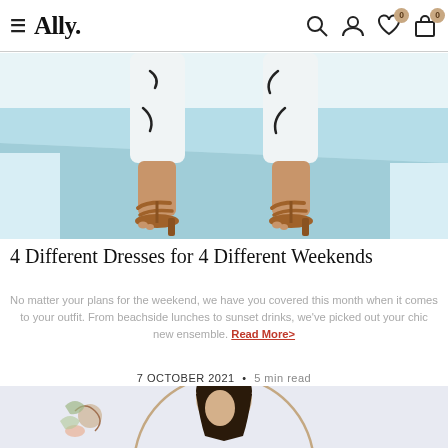Ally. [nav: search, account, wishlist (0), cart (0)]
[Figure (photo): Close-up of two pairs of legs wearing white patterned cropped pants and tan brown strappy heeled sandals, standing on a light blue floor against a white/light blue background.]
4 Different Dresses for 4 Different Weekends
No matter your plans for the weekend, we have you covered this month when it comes to your outfit. From beachside lunches to sunset drinks, we've picked out your chic new ensemble. Read More>
7 OCTOBER 2021 • 5 min read
[Figure (photo): Partial view of a woman with dark hair, wearing a light-coloured outfit, surrounded by floral/botanical decorative elements on a light grey/blue background. Image is cropped at the bottom of the page.]